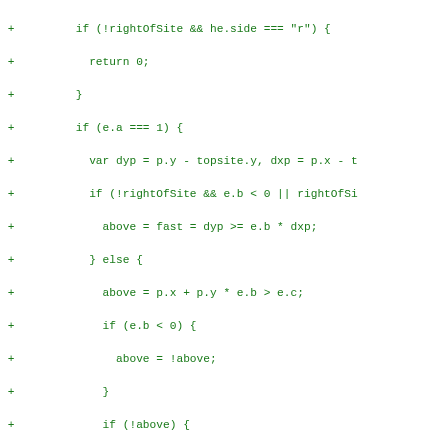[Figure (screenshot): Code diff showing JavaScript source code lines with green '+' markers on the left, displaying a code fragment involving rightOfSite, he.side, dyp, dxp, topsite, e.a, e.b, e.c, above, fast, dxs, e.region, yl, t1, t2, t3 variables and conditional logic.]